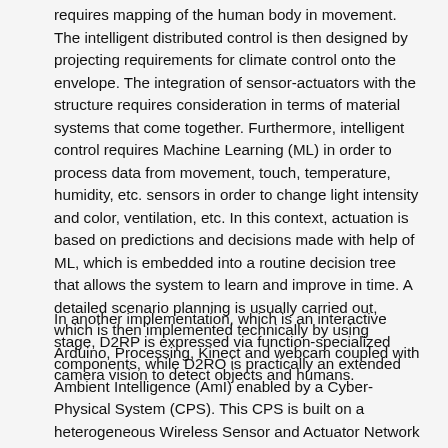requires mapping of the human body in movement. The intelligent distributed control is then designed by projecting requirements for climate control onto the envelope. The integration of sensor-actuators with the structure requires consideration in terms of material systems that come together. Furthermore, intelligent control requires Machine Learning (ML) in order to process data from movement, touch, temperature, humidity, etc. sensors in order to change light intensity and color, ventilation, etc. In this context, actuation is based on predictions and decisions made with help of ML, which is embedded into a routine decision tree that allows the system to learn and improve in time. A detailed scenario planning is usually carried out, which is then implemented technically by using Arduino, Processing, Kinect and webcam coupled with camera vision to detect objects and humans.
In another implementation, which is an interactive stage, D2RP is expressed via function-specialized components, while D2RO is practically an extended Ambient Intelligence (AmI) enabled by a Cyber-Physical System (CPS). This CPS is built on a heterogeneous Wireless Sensor and Actuator Network